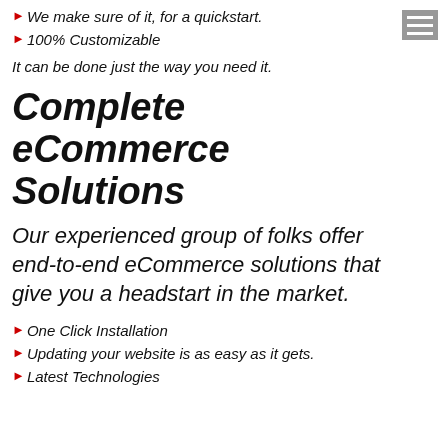We make sure of it, for a quickstart.
100% Customizable
It can be done just the way you need it.
Complete eCommerce Solutions
Our experienced group of folks offer end-to-end eCommerce solutions that give you a headstart in the market.
One Click Installation
Updating your website is as easy as it gets.
Latest Technologies